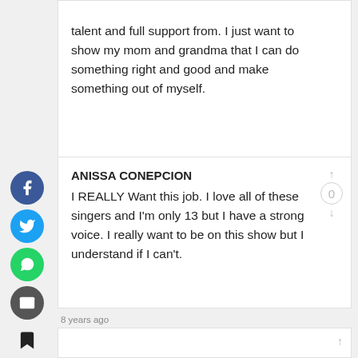talent and full support from. I just want to show my mom and grandma that I can do something right and good and make something out of myself.
8 years ago
ANISSA CONEPCION
I REALLY Want this job. I love all of these singers and I'm only 13 but I have a strong voice. I really want to be on this show but I understand if I can't.
8 years ago